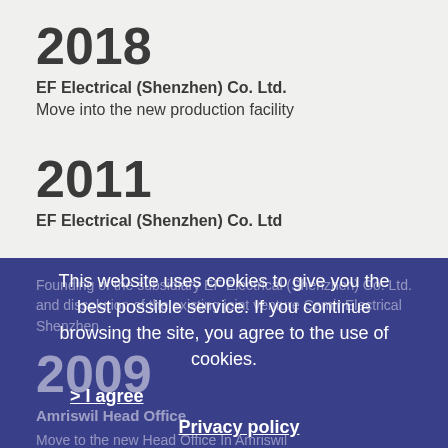2018
EF Electrical (Shenzhen) Co. Ltd.
Move into the new production facility
2011
EF Electrical (Shenzhen) Co. Ltd
Founding of the subsidiary EF Electrical (Shenzhen) Co. Ltd. and dissolution of the existing joint venture Camir Electrical Shenzhen
2009
Amriswil Head Office
Move to the new Head Office In Amriswil
This website uses cookies to give you the best possible service. If you continue browsing the site, you agree to the use of cookies.
> I agree
Privacy policy